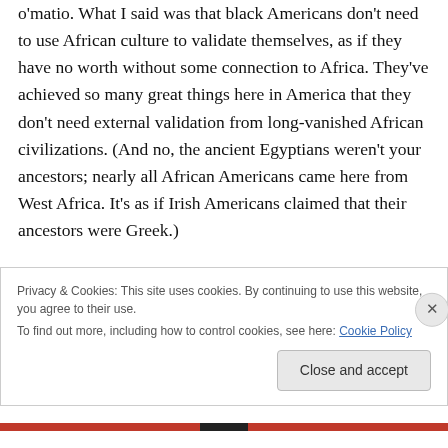...o'matio. What I said was that black Americans don't need to use African culture to validate themselves, as if they have no worth without some connection to Africa. They've achieved so many great things here in America that they don't need external validation from long-vanished African civilizations. (And no, the ancient Egyptians weren't your ancestors; nearly all African Americans came here from West Africa. It's as if Irish Americans claimed that their ancestors were Greek.)
Privacy & Cookies: This site uses cookies. By continuing to use this website, you agree to their use.
To find out more, including how to control cookies, see here: Cookie Policy